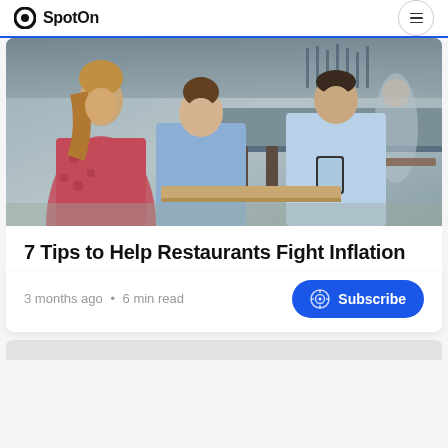SpotOn
[Figure (photo): Restaurant scene with three people — a woman in a floral dress, a man in a light blue button-up shirt, and a server/host with a short haircut holding a tablet, standing at a bar counter inside a restaurant.]
7 Tips to Help Restaurants Fight Inflation
3 months ago • 6 min read